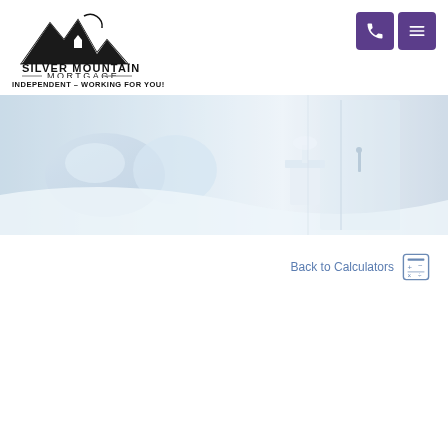[Figure (logo): Silver Mountain Mortgage logo with mountain silhouette and house icon, text reads SILVER MOUNTAIN MORTGAGE, INDEPENDENT – WORKING FOR YOU!]
[Figure (photo): Hero banner image of a bedroom interior with light blue pillows, white furniture, soft blue-tinted lighting, and a glass shower door visible on the right side]
Back to Calculators